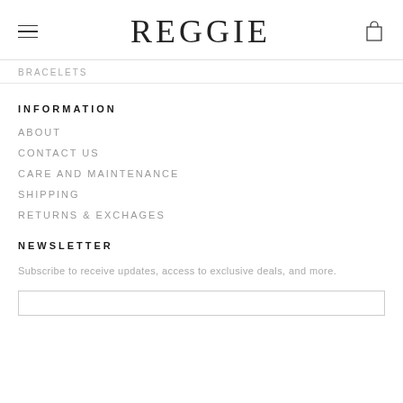REGGIE
BRACELETS
INFORMATION
ABOUT
CONTACT US
CARE AND MAINTENANCE
SHIPPING
RETURNS & EXCHAGES
NEWSLETTER
Subscribe to receive updates, access to exclusive deals, and more.